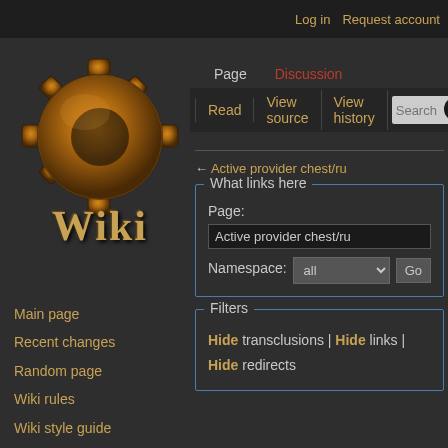Log in | Request account
[Figure (logo): Factorio Wiki logo: orange/brown gear with 'Wiki' text below in golden serif font]
Page | Discussion | Read | View source | View history | Search
Main page
Recent changes
Random page
Wiki rules
Wiki style guide
Editor noticeboard
Admin noticeboard
Official Portals
Website
Forums
Mod Portal
Runtime API Docs
← Active provider chest/ru
What links here — Page: Active provider chest/ru — Namespace: all
Filters — Hide transclusions | Hide links | Hide redirects